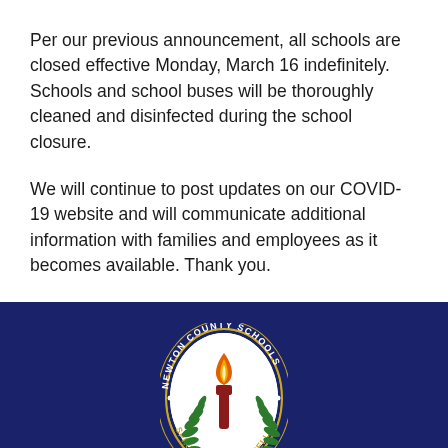Per our previous announcement, all schools are closed effective Monday, March 16 indefinitely. Schools and school buses will be thoroughly cleaned and disinfected during the school closure.
We will continue to post updates on our COVID-19 website and will communicate additional information with families and employees as it becomes available. Thank you.
[Figure (logo): Newton County Schools seal/logo — oval shape with dark navy border, text 'NEWTON COUNTY SCHOOLS' around the top arc and 'SPIRIT • PRIDE • EXCELLENCE' along the bottom arc in gold lettering, white interior with green fern/laurel branches on either side of a red and orange torch flame on a red torch handle]
Contact Us